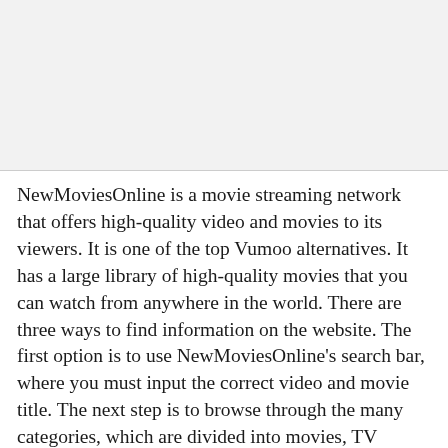[Figure (other): Gray rectangular image placeholder at the top of the page]
NewMoviesOnline is a movie streaming network that offers high-quality video and movies to its viewers. It is one of the top Vumoo alternatives. It has a large library of high-quality movies that you can watch from anywhere in the world. There are three ways to find information on the website. The first option is to use NewMoviesOnline's search bar, where you must input the correct video and movie title. The next step is to browse through the many categories, which are divided into movies, TV shows, new releases, and most recent releases and highlights, top of the line, latest, top-level, and more. The third alternative is to do t